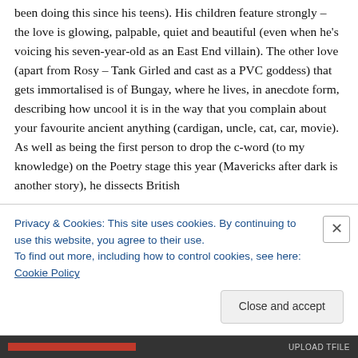been doing this since his teens). His children feature strongly – the love is glowing, palpable, quiet and beautiful (even when he's voicing his seven-year-old as an East End villain). The other love (apart from Rosy – Tank Girled and cast as a PVC goddess) that gets immortalised is of Bungay, where he lives, in anecdote form, describing how uncool it is in the way that you complain about your favourite ancient anything (cardigan, uncle, cat, car, movie). As well as being the first person to drop the c-word (to my knowledge) on the Poetry stage this year (Mavericks after dark is another story), he dissects British
Privacy & Cookies: This site uses cookies. By continuing to use this website, you agree to their use.
To find out more, including how to control cookies, see here: Cookie Policy